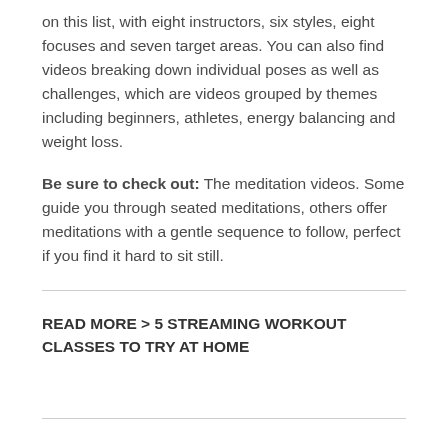on this list, with eight instructors, six styles, eight focuses and seven target areas. You can also find videos breaking down individual poses as well as challenges, which are videos grouped by themes including beginners, athletes, energy balancing and weight loss.
Be sure to check out: The meditation videos. Some guide you through seated meditations, others offer meditations with a gentle sequence to follow, perfect if you find it hard to sit still.
READ MORE > 5 STREAMING WORKOUT CLASSES TO TRY AT HOME